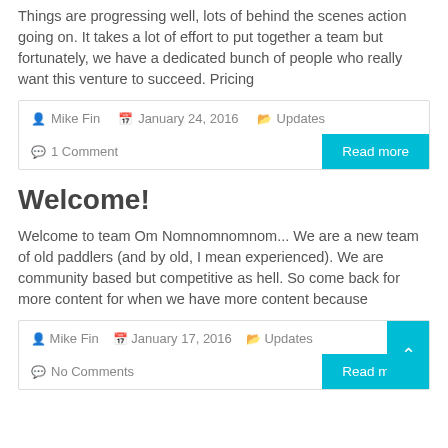Things are progressing well, lots of behind the scenes action going on. It takes a lot of effort to put together a team but fortunately, we have a dedicated bunch of people who really want this venture to succeed. Pricing
Mike Fin  |  January 24, 2016  |  Updates  |  1 Comment  |  Read more
Welcome!
Welcome to team Om Nomnomnomnom... We are a new team of old paddlers (and by old, I mean experienced). We are community based but competitive as hell. So come back for more content for when we have more content because
Mike Fin  |  January 17, 2016  |  Updates  |  No Comments  |  Read more